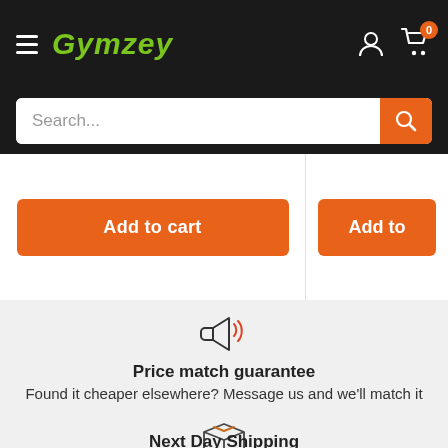Gymzey
Search...
Add to cart
Add to
[Figure (illustration): Megaphone icon with red sound waves]
Price match guarantee
Found it cheaper elsewhere? Message us and we'll match it
[Figure (illustration): Shipping box package icon]
Next Day Shipping